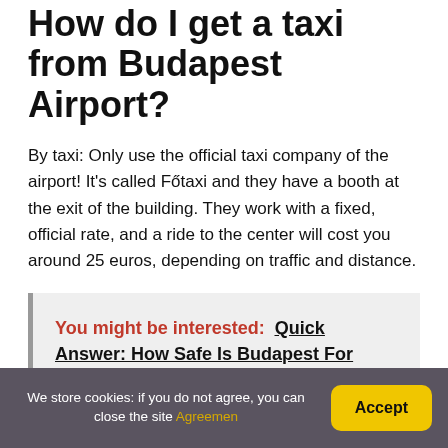How do I get a taxi from Budapest Airport?
By taxi: Only use the official taxi company of the airport! It's called Főtaxi and they have a booth at the exit of the building. They work with a fixed, official rate, and a ride to the center will cost you around 25 euros, depending on traffic and distance.
You might be interested:  Quick Answer: How Safe Is Budapest For Woman?
We store cookies: if you do not agree, you can close the site Agreemen | Accept